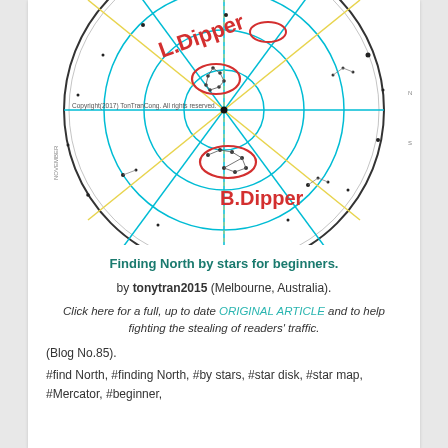[Figure (illustration): Star map / sky chart showing northern constellations including the Little Dipper (L.Dipper) and Big Dipper (B.Dipper) labeled in red, with cyan and yellow grid lines overlaid on a circular star chart. Copyright 2017 TonTranCong. All rights reserved.]
Finding North by stars for beginners.
by tonytran2015 (Melbourne, Australia).
Click here for a full, up to date ORIGINAL ARTICLE and to help fighting the stealing of readers' traffic.
(Blog No.85).
#find North, #finding North, #by stars, #star disk, #star map, #Mercator, #beginner,